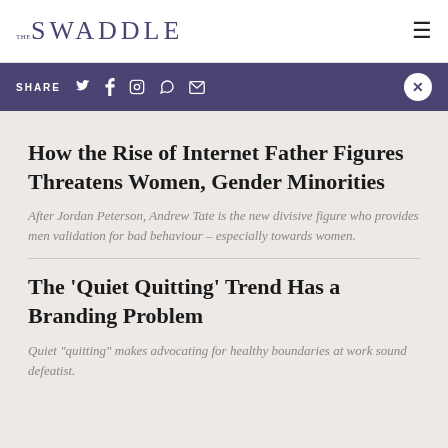THE SWADDLE
SHARE
How the Rise of Internet Father Figures Threatens Women, Gender Minorities
After Jordan Peterson, Andrew Tate is the new divisive figure who provides men validation for bad behaviour – especially towards women.
The 'Quiet Quitting' Trend Has a Branding Problem
Quiet "quitting" makes advocating for healthy boundaries at work sound defeatist.